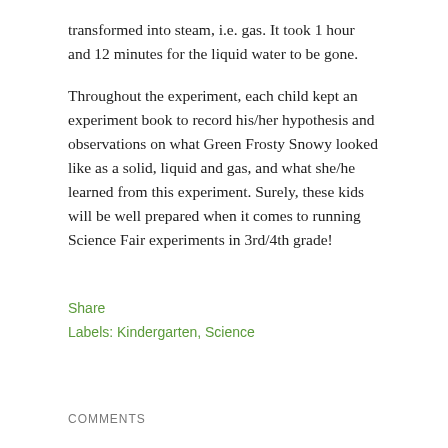transformed into steam, i.e. gas. It took 1 hour and 12 minutes for the liquid water to be gone.
Throughout the experiment, each child kept an experiment book to record his/her hypothesis and observations on what Green Frosty Snowy looked like as a solid, liquid and gas, and what she/he learned from this experiment. Surely, these kids will be well prepared when it comes to running Science Fair experiments in 3rd/4th grade!
Share
Labels: Kindergarten, Science
COMMENTS